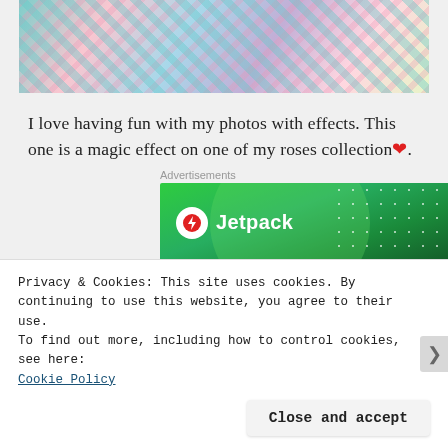[Figure (illustration): Abstract colorful art photo with swirling pastel patterns — teal, pink, purple, white, and gold tones — resembling a magic/oil-paint photo effect applied to a roses image.]
I love having fun with my photos with effects. This one is a magic effect on one of my roses collection❤️.
Advertisements
[Figure (logo): Jetpack advertisement banner — green gradient background with white dots, circular logo icon with lightning bolt, text 'Jetpack' in white bold font.]
Privacy & Cookies: This site uses cookies. By continuing to use this website, you agree to their use.
To find out more, including how to control cookies, see here:
Cookie Policy
Close and accept